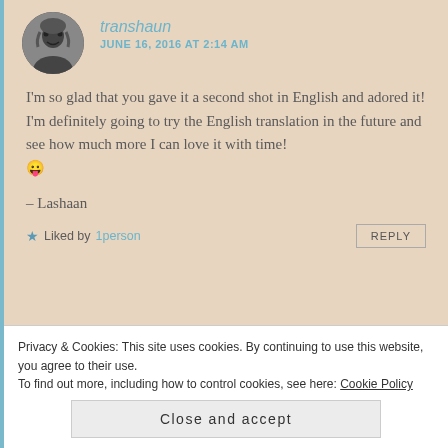transhaun
JUNE 16, 2016 AT 2:14 AM
I'm so glad that you gave it a second shot in English and adored it! I'm definitely going to try the English translation in the future and see how much more I can love it with time! 😛
– Lashaan
★ Liked by 1person
REPLY
Privacy & Cookies: This site uses cookies. By continuing to use this website, you agree to their use.
To find out more, including how to control cookies, see here: Cookie Policy
Close and accept